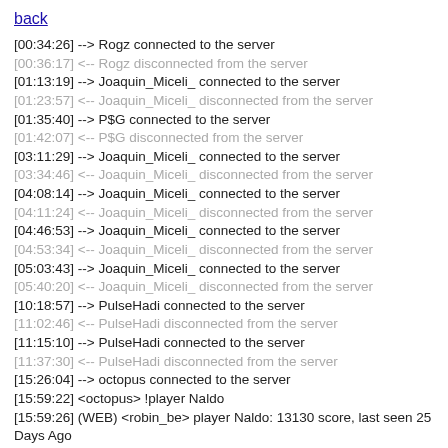back
[00:34:26] --> Rogz connected to the server
[00:36:17] <-- Rogz disconnected from the server
[01:13:19] --> Joaquin_Miceli_ connected to the server
[01:23:57] <-- Joaquin_Miceli_ disconnected from the server
[01:35:40] --> P$G connected to the server
[01:42:07] <-- P$G disconnected from the server
[03:11:29] --> Joaquin_Miceli_ connected to the server
[03:34:46] <-- Joaquin_Miceli_ disconnected from the server
[04:08:14] --> Joaquin_Miceli_ connected to the server
[04:11:24] <-- Joaquin_Miceli_ disconnected from the server
[04:46:53] --> Joaquin_Miceli_ connected to the server
[04:53:34] <-- Joaquin_Miceli_ disconnected from the server
[05:03:43] --> Joaquin_Miceli_ connected to the server
[05:40:20] <-- Joaquin_Miceli_ disconnected from the server
[10:18:57] --> PulseHadi connected to the server
[11:02:46] <-- PulseHadi disconnected from the server
[11:15:10] --> PulseHadi connected to the server
[11:37:30] <-- PulseHadi disconnected from the server
[15:26:04] --> octopus connected to the server
[15:59:22] <octopus> !player Naldo
[15:59:26] (WEB) <robin_be> player Naldo: 13130 score, last seen 25 Days Ago
[16:03:18] <octopus> !player Osprey